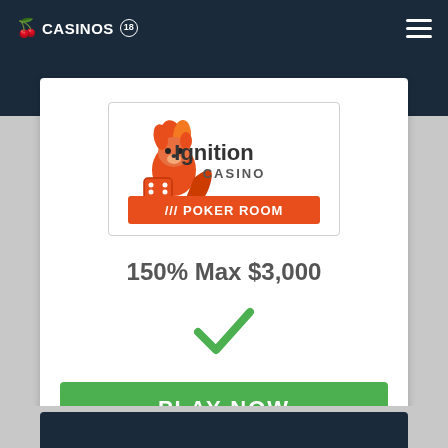CASINOS 18+ (logo/nav bar)
[Figure (logo): Ignition Casino Poker Room logo — orange squirrel with flame, orange dice, text 'Ignition CASINO' and '/// POKER ROOM' on orange banner]
150% Max $3,000
[Figure (other): Green checkmark tick icon]
PLAY NOW
Full Review